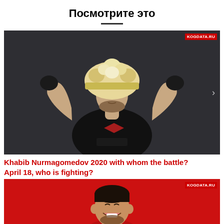Посмотрите это
[Figure (photo): Khabib Nurmagomedov in black UFC/Reebok shirt and traditional Caucasian fur hat (papakha), posed with gloved fists raised, dark grey background. KOGDATA.RU badge top right.]
Khabib Nurmagomedov 2020 with whom the battle? April 18, who is fighting?
[Figure (photo): Khabib Nurmagomedov smiling, wearing red shirt, red background. KOGDATA.RU badge top right. Partially cropped at bottom of page.]